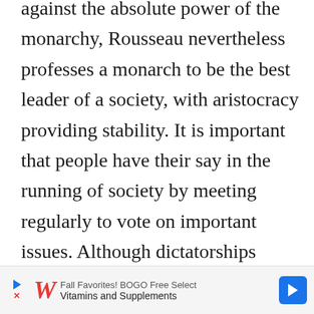against the absolute power of the monarchy, Rousseau nevertheless professes a monarch to be the best leader of a society, with aristocracy providing stability. It is important that people have their say in the running of society by meeting regularly to vote on important issues. Although dictatorships should be avoided, in emergencies they may be required, with temporary powers given to them to uphold the common good.

Rousseau concludes The Social Contract by considering the place of religion in this society. All citizens should be required to observe a single, public